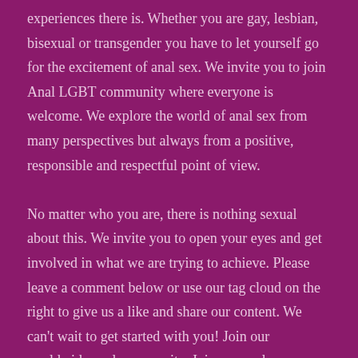experiences there is. Whether you are gay, lesbian, bisexual or transgender you have to let yourself go for the excitement of anal sex. We invite you to join Anal LGBT community where everyone is welcome. We explore the world of anal sex from many perspectives but always from a positive, responsible and respectful point of view.

No matter who you are, there is nothing sexual about this. We invite you to open your eyes and get involved in what we are trying to achieve. Please leave a comment below or use our tag cloud on the right to give us a like and share our content. We can't wait to get started with you! Join our worldwide anal community. Join our anal community and get involved with anal sex. Anal LGBT introduces you to anal sex stories, anal sex education, anal sex sex positions, anal sex training and anal porn videos.